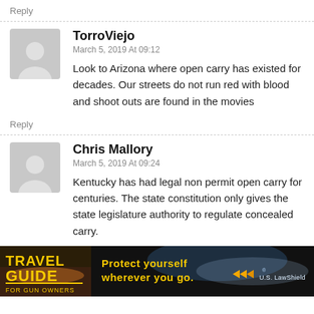Reply
TorroViejo
March 5, 2019 At 09:12
Look to Arizona where open carry has existed for decades. Our streets do not run red with blood and shoot outs are found in the movies
Reply
Chris Mallory
March 5, 2019 At 09:24
Kentucky has had legal non permit open carry for centuries. The state constitution only gives the state legislature authority to regulate concealed carry.
[Figure (photo): Travel Guide for Gun Owners advertisement banner — dark background with text 'TRAVEL GUIDE FOR GUN OWNERS', 'Protect yourself wherever you go.' with arrow graphics and U.S. LawShield logo]